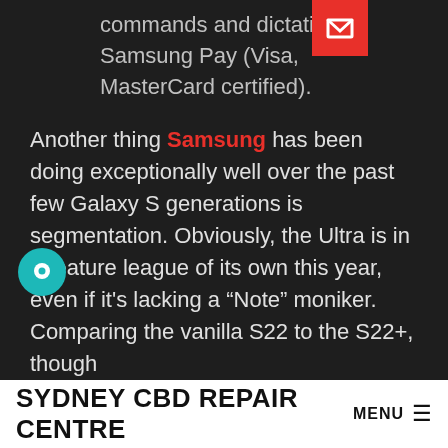commands and dictation Samsung Pay (Visa, MasterCard certified).
Another thing Samsung has been doing exceptionally well over the past few Galaxy S generations is segmentation. Obviously, the Ultra is in a feature league of its own this year, even if it's lacking a “Note” moniker. Comparing the vanilla S22 to the S22+, though, reveals a few significant differences. The S22+ is obviously bigger, with a larger 4,500 mAh battery and advertised 45W fast charging support instead of the 25W that the S22 carries forward from older Samsung devices. We’ll get into more detail in the charging section, but, spoiler alert, the 45W omission is hardly significant. The omission of Ultra Wideband (UWB) support on the
SYDNEY CBD REPAIR CENTRE MENU ☰